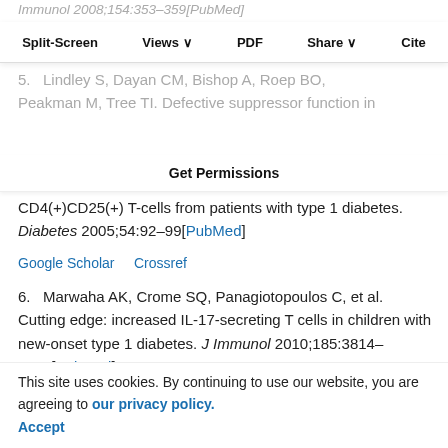Immunol 2008;154:353–359[PubMed]
Split-Screen  Views  PDF  Share  Cite
Get Permissions
5.   Lindley S, Dayan CM, Bishop A, Roep BO, Peakman M, Tree TI. Defective suppressor function in CD4(+)CD25(+) T-cells from patients with type 1 diabetes. Diabetes 2005;54:92–99[PubMed]
Google Scholar    Crossref
6.   Marwaha AK, Crome SQ, Panagiotopoulos C, et al. Cutting edge: increased IL-17-secreting T cells in children with new-onset type 1 diabetes. J Immunol 2010;185:3814–3818[PubMed]
Google Scholar    Crossref
7.   McClymont SA, Putnam AL, Lee MR, et al. Plasticity of human regulatory T cells in healthy
This site uses cookies. By continuing to use our website, you are agreeing to our privacy policy. Accept